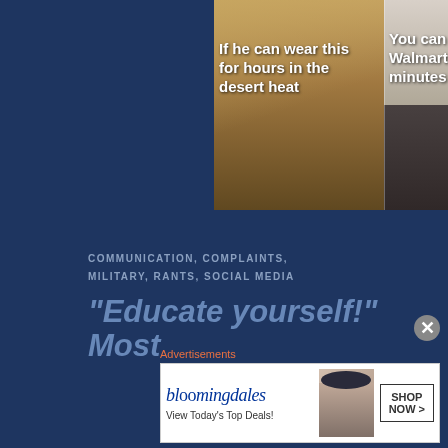[Figure (photo): Side-by-side meme image. Left side: soldier in full combat gear and face covering in desert. Text: 'If he can wear this for hours in the desert heat'. Right side: person in dark coverall with face mask. Text: 'You can wear this in Walmart for 15 minutes'. Promoting mask-wearing by comparing to military gear.]
COMMUNICATION, COMPLAINTS, MILITARY, RANTS, SOCIAL MEDIA
“Educate yourself!” Most
Advertisements
[Figure (screenshot): Bloomingdale's advertisement banner. Logo text 'bloomingdales', tagline 'View Today's Top Deals!', image of woman with large hat, button 'SHOP NOW >']